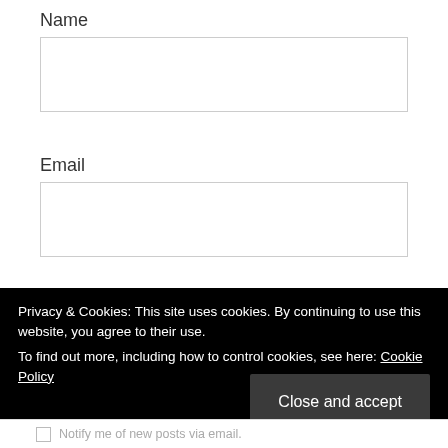Name
[Figure (other): Empty text input field for Name]
Email
[Figure (other): Empty text input field for Email]
Website
[Figure (other): Empty text input field for Website]
Privacy & Cookies: This site uses cookies. By continuing to use this website, you agree to their use.
To find out more, including how to control cookies, see here: Cookie Policy
Close and accept
Notify me of new posts via email.